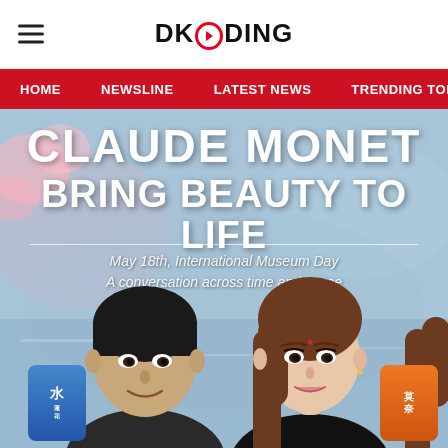DKODING
HOME  NEWSLINE  LATEST NEWS  TRENDING TODAY  ENT
[Figure (photo): Promotional image for Claude Monet 'Bring Beauty to Life' event on May 18th, International Museum Day. A conversation across time and space. Features two people (a man and a woman) posed in front of a Monet-inspired background with cherry blossoms and water.]